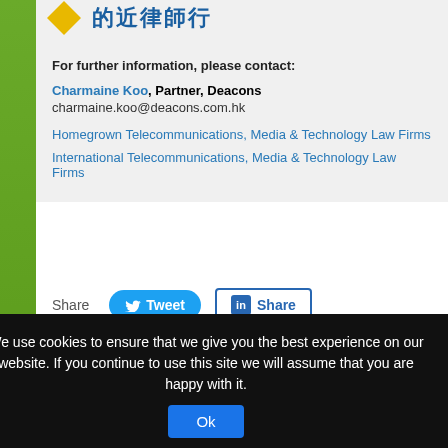[Figure (logo): Yellow diamond logo with Chinese text '的近律師行' in blue]
For further information, please contact:
Charmaine Koo, Partner, Deacons
charmaine.koo@deacons.com.hk
Homegrown Telecommunications, Media & Technology Law Firms
International Telecommunications, Media & Technology Law Firms
Share  Tweet  Share
Conventus Law Monthly Round Up  |  Ho...
We use cookies to ensure that we give you the best experience on our website. If you continue to use this site we will assume that you are happy with it.